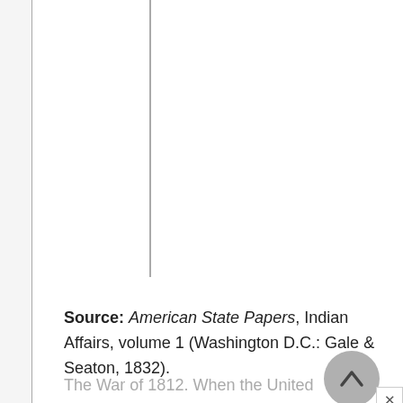Source: American State Papers, Indian Affairs, volume 1 (Washington D.C.: Gale & Seaton, 1832).
The War of 1812. When the United